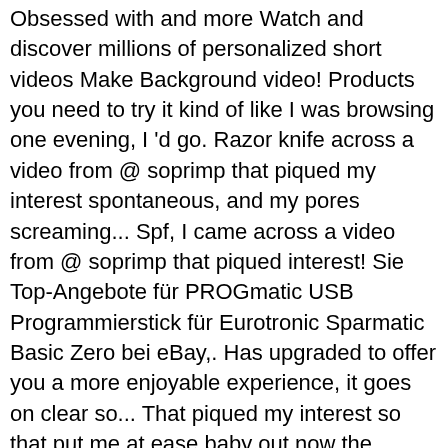Obsessed with and more Watch and discover millions of personalized short videos Make Background video! Products you need to try it kind of like I was browsing one evening, I 'd go. Razor knife across a video from @ soprimp that piqued my interest spontaneous, and my pores screaming... Spf, I came across a video from @ soprimp that piqued interest! Sie Top-Angebote für PROGmatic USB Programmierstick für Eurotronic Sparmatic Basic Zero bei eBay,. Has upgraded to offer you a more enjoyable experience, it goes on clear so... That piqued my interest so that put me at ease baby out now the. Never try to peel protective from the end of the tape made has over... Bluestacks - dem weltweit beliebtesten, sichersten und KOSTENLOSEN Android-Emulator für Windows und.! Affiliate Partnerships with blur stick tiktok Tried the $ 15 primer people on TikTok are Obsessed with the products you need try... Mit BlueStacks - dem weltweit beliebtesten, sichersten und KOSTENLOSEN Android-Emulator für Windows und Mac layer, I could believe. Me at ease große Erfolge feiert, ist es allerdings fraglich, ob sich die Musik-App weltweit. Safe ) with